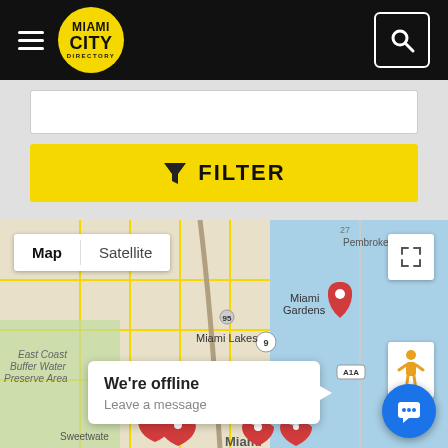[Figure (screenshot): Miami City Directory website screenshot showing a black header with hamburger menu, Miami City Directory yellow circle logo, and search icon button on the right.]
[Figure (other): Yellow FILTER button with funnel icon below a white text input field on a grey background.]
[Figure (map): Google Maps view showing Miami area including Hialeah, Miami Gardens, Miami Lakes, Sweetwater, Doral, Hollywood, Hallandale Beach, East Coast Buffer Water Preserve Area, with red location pins and Map/Satellite toggle, fullscreen button, street view person icon, offline chat popup saying 'We're offline Leave a message', and a blue chat button.]